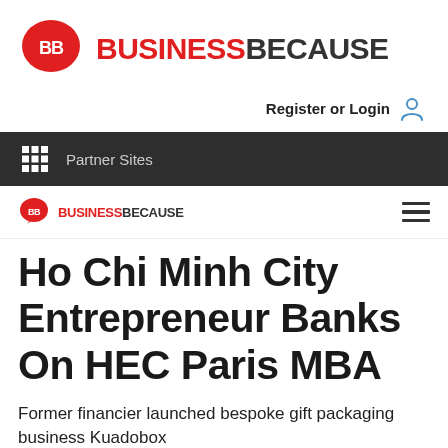[Figure (logo): BusinessBecause logo with red speech bubble icon containing 'BB' and text BUSINESSBECAUSE in red and dark grey]
Register or Login
[Figure (infographic): Dark navigation bar with grid/apps icon and Partner Sites text]
[Figure (logo): Small BusinessBecause mobile logo with hamburger menu icon]
Ho Chi Minh City Entrepreneur Banks On HEC Paris MBA
Former financier launched bespoke gift packaging business Kuadobox